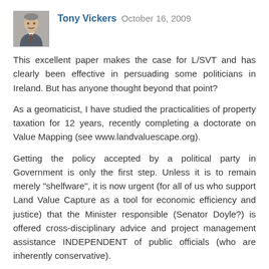[Figure (photo): Small square headshot photo of Tony Vickers, a man in a suit]
Tony Vickers  October 16, 2009
This excellent paper makes the case for L/SVT and has clearly been effective in persuading some politicians in Ireland. But has anyone thought beyond that point?
As a geomaticist, I have studied the practicalities of property taxation for 12 years, recently completing a doctorate on Value Mapping (see www.landvaluescape.org).
Getting the policy accepted by a political party in Government is only the first step. Unless it is to remain merely "shelfware", it is now urgent (for all of us who support Land Value Capture as a tool for economic efficiency and justice) that the Minister responsible (Senator Doyle?) is offered cross-disciplinary advice and project management assistance INDEPENDENT of public officials (who are inherently conservative).
I believe I can help here, as I have excellent contacts worldwide in the relevant professions. I have already